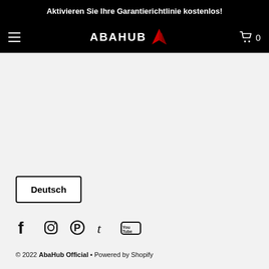Aktivieren Sie Ihre Garantierichtlinie kostenlos!
[Figure (logo): ABAHUB logo with red chevron/arrow icon on black navigation bar]
Deutsch
[Figure (infographic): Social media icons row: Facebook, Instagram, Pinterest, Tumblr, YouTube]
© 2022 AbaHub Official • Powered by Shopify